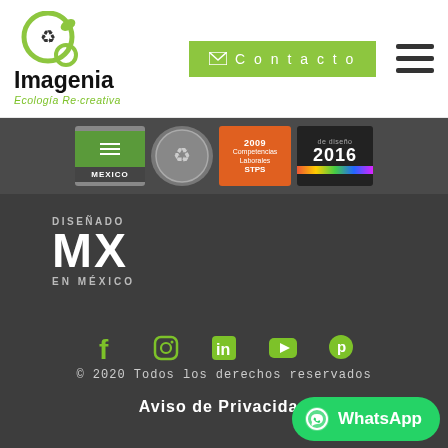[Figure (logo): Imagenia logo with green recycling circle icon, brand name 'Imagenia' in black bold text, and subtitle 'Ecología Re-creativa' in green italic text]
[Figure (other): Green contact button with envelope icon and text 'Contacto']
[Figure (other): Hamburger menu icon (three horizontal lines)]
[Figure (other): Row of certification badge images: Mexico badge, recycling certification seal, STPS 2009 badge, and a colorful 2016 design award badge]
[Figure (logo): Diseñado MX en México logo in white and grey text on dark background]
[Figure (other): Social media icons row: Facebook, Instagram, LinkedIn, YouTube, Pinterest — in green]
© 2020 Todos los derechos reservados
Aviso de Privacidad
[Figure (other): WhatsApp button in green with WhatsApp logo icon and text 'WhatsApp']